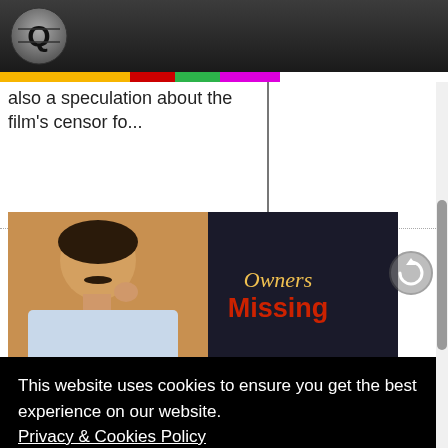iQlik Movies
also a speculation about the film's censor fo...
[Figure (photo): Movie promotional image for 'Owners Missing' featuring Pawan Kalyan with the text Owners Missing overlaid]
Theaters Owners Absconding For Pawan Kalyan
By iQlik Movies - 31 March 2016 10:08:01
Another unusual act...
This website uses cookies to ensure you get the best experience on our website. Privacy & Cookies Policy
Accept
that is power star Pawan